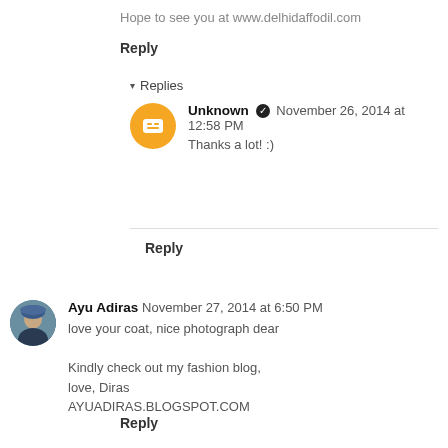Hope to see you at www.delhidaffodil.com
Reply
▾ Replies
[Figure (illustration): Orange circular blogger avatar icon with white B logo]
Unknown ✔ November 26, 2014 at 12:58 PM
Thanks a lot! :)
Reply
[Figure (photo): Circular avatar photo of Ayu Adiras, a person with blue/teal hat]
Ayu Adiras November 27, 2014 at 6:50 PM
love your coat, nice photograph dear

Kindly check out my fashion blog,
love, Diras
AYUADIRAS.BLOGSPOT.COM
Reply